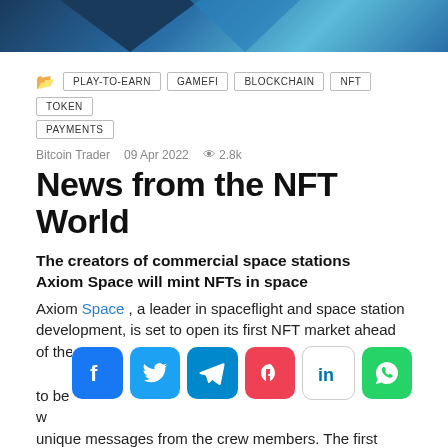[Figure (illustration): Dark blue and teal geometric banner with triangular shapes]
PLAY-TO-EARN   GAMEFI   BLOCKCHAIN   NFT   TOKEN   PAYMENTS
Bitcoin Trader   09 Apr 2022   2.8k
News from the NFT World
The creators of commercial space stations Axiom Space will mint NFTs in space
Axiom Space , a leader in spaceflight and space station development, is set to open its first NFT market ahead of the historic Ax-1 mission to the International ... due to be released w... feature unique messages from the crew members. The first